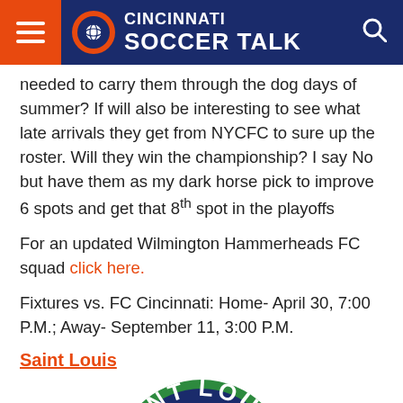Cincinnati Soccer Talk
needed to carry them through the dog days of summer? If will also be interesting to see what late arrivals they get from NYCFC to sure up the roster. Will they win the championship? I say No but have them as my dark horse pick to improve 6 spots and get that 8th spot in the playoffs
For an updated Wilmington Hammerheads FC squad click here.
Fixtures vs. FC Cincinnati: Home- April 30, 7:00 P.M.; Away- September 11, 3:00 P.M.
Saint Louis
[Figure (logo): Saint Louis FC circular badge/logo — dark navy blue circle with green ring, white text reading SAINT LOU (partially visible)]